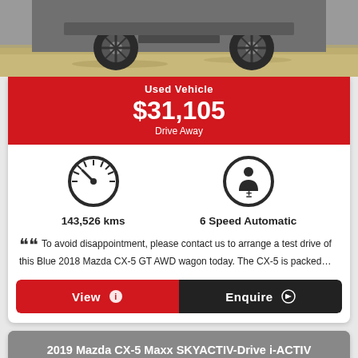[Figure (photo): Bottom portion of a car on sand/dirt surface, showing wheels and undercarriage]
Used Vehicle
$31,105
Drive Away
[Figure (infographic): Speedometer icon]
143,526 kms
[Figure (infographic): Transmission/gear icon]
6 Speed Automatic
To avoid disappointment, please contact us to arrange a test drive of this Blue 2018 Mazda CX-5 GT AWD wagon today. The CX-5 is packed…
View
Enquire
2019 Mazda CX-5 Maxx SKYACTIV-Drive i-ACTIV AWD Sport Wagon
[Figure (photo): Split photo of a Mazda CX-5 vehicle]